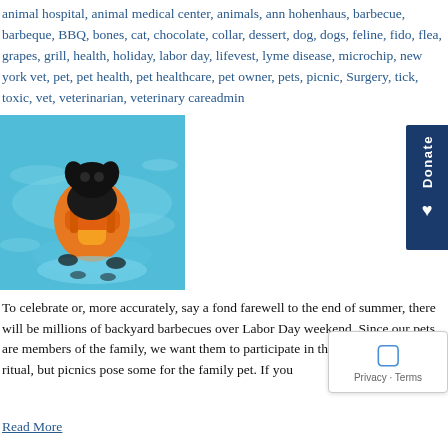animal hospital, animal medical center, animals, ann hohenhaus, barbecue, barbeque, BBQ, bones, cat, chocolate, collar, dessert, dog, dogs, feline, fido, flea, grapes, grill, health, holiday, labor day, lifevest, lyme disease, microchip, new york vet, pet, pet health, pet healthcare, pet owner, pets, picnic, Surgery, tick, toxic, vet, veterinarian, veterinary careadmin
[Figure (photo): A small black dog wearing an orange life vest swimming in a bright blue pool, viewed from above and behind.]
To celebrate or, more accurately, say a fond farewell to the end of summer, there will be millions of backyard barbecues over Labor Day weekend. Since our pets are members of the family, we want them to participate in this end of summer ritual, but picnics pose some for the family pet. If you
Read More